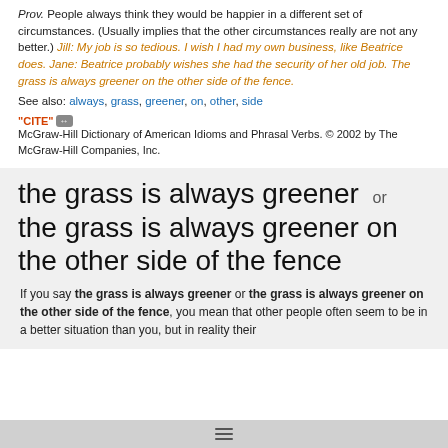Prov. People always think they would be happier in a different set of circumstances. (Usually implies that the other circumstances really are not any better.) Jill: My job is so tedious. I wish I had my own business, like Beatrice does. Jane: Beatrice probably wishes she had the security of her old job. The grass is always greener on the other side of the fence.
See also: always, grass, greener, on, other, side
"CITE" [icon] McGraw-Hill Dictionary of American Idioms and Phrasal Verbs. © 2002 by The McGraw-Hill Companies, Inc.
the grass is always greener or the grass is always greener on the other side of the fence
If you say the grass is always greener or the grass is always greener on the other side of the fence, you mean that other people often seem to be in a better situation than you, but in reality their